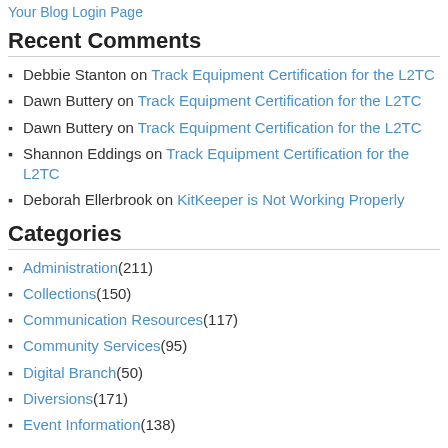Your Blog Login Page
Recent Comments
Debbie Stanton on Track Equipment Certification for the L2TC
Dawn Buttery on Track Equipment Certification for the L2TC
Dawn Buttery on Track Equipment Certification for the L2TC
Shannon Eddings on Track Equipment Certification for the L2TC
Deborah Ellerbrook on KitKeeper is Not Working Properly
Categories
Administration (211)
Collections (150)
Communication Resources (117)
Community Services (95)
Digital Branch (50)
Diversions (171)
Event Information (138)